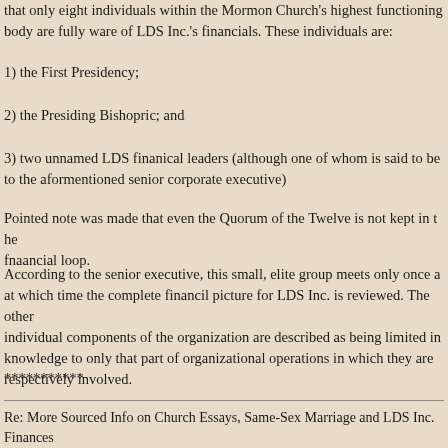that only eight individuals within the Mormon Church's highest functioning body are fully ware of LDS Inc.'s financials. These individuals are:
1) the First Presidency;
2) the Presiding Bishopric; and
3) two unnamed LDS finanical leaders (although one of whom is said to be to the aformentioned senior corporate executive)
Pointed note was made that even the Quorum of the Twelve is not kept in the fnaancial loop.
According to the senior executive, this small, elite group meets only once a year, at which time the complete financil picture for LDS Inc. is reviewed. The other individual components of the organization are described as being limited in their knowledge to only that part of organizational operations in which they are respectively involved.
***********
I appreciate my source's willingness to share the above credible, insightful and valuable information for the express purpose of public disclosure. As this individual observed, the Mormon Church is in need of experiencing the effects of sunlight on its secrets. To that end, they said they would pass information along as it is received.
Re: More Sourced Info on Church Essays, Same-Sex Marriage and LDS Inc. Finances
Great information. Thank You